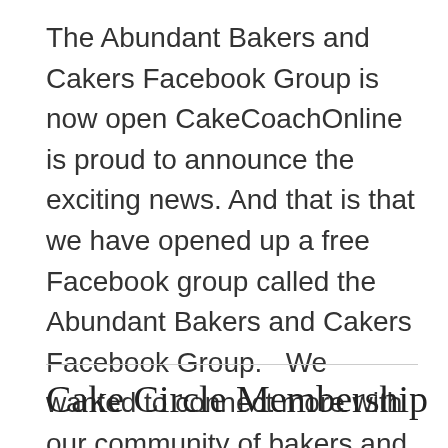The Abundant Bakers and Cakers Facebook Group is now open CakeCoachOnline is proud to announce the exciting news. And that is that we have opened up a free Facebook group called the Abundant Bakers and Cakers Facebook Group.   We wanted to connect more with our community of bakers and cake decorators. We were finding...
Read More
Cake Circle Membership